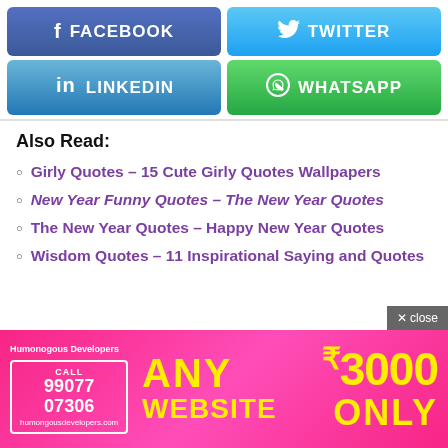[Figure (screenshot): Social share buttons: Facebook (blue), Twitter (light blue), LinkedIn (teal-blue), WhatsApp (green)]
Also Read:
Girly Quotes – 15 Cute Girly Quotes Wallpapers
New Year Funny Quotes – The New Year Quotes
The New Year Quotes – Happy New Year Quotes
Wisdom Quotes – 11 Inspirational Saying and Quotes
[Figure (infographic): Advertisement banner: Humonogous Developers, CALL 9907707306, humongosusdevelopers.com, ANY WEBSITE ₹3000 ONLY]